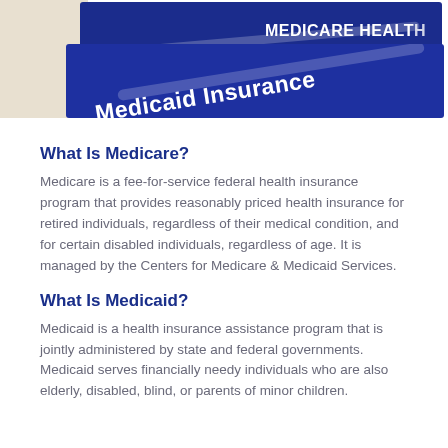[Figure (photo): Photo of Medicare Health and Medicaid Insurance cards stacked on a stone surface]
What Is Medicare?
Medicare is a fee-for-service federal health insurance program that provides reasonably priced health insurance for retired individuals, regardless of their medical condition, and for certain disabled individuals, regardless of age. It is managed by the Centers for Medicare & Medicaid Services.
What Is Medicaid?
Medicaid is a health insurance assistance program that is jointly administered by state and federal governments. Medicaid serves financially needy individuals who are also elderly, disabled, blind, or parents of minor children.